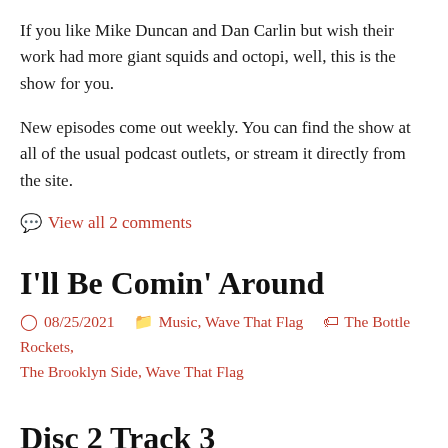If you like Mike Duncan and Dan Carlin but wish their work had more giant squids and octopi, well, this is the show for you.
New episodes come out weekly. You can find the show at all of the usual podcast outlets, or stream it directly from the site.
💬 View all 2 comments
I'll Be Comin' Around
⏰ 08/25/2021   🗂 Music, Wave That Flag   🏷 The Bottle Rockets, The Brooklyn Side, Wave That Flag
Disc 2 Track 3